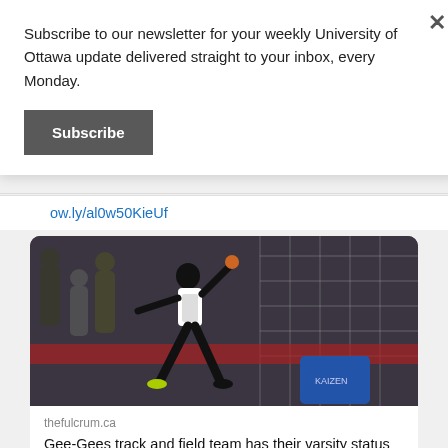Subscribe to our newsletter for your weekly University of Ottawa update delivered straight to your inbox, every Monday.
Subscribe
ow.ly/al0w50KieUf
[Figure (photo): Athlete performing a discus throw at an indoor track and field event, wearing a white jersey. Spectators and a net visible in background.]
thefulcrum.ca
Gee-Gees track and field team has their varsity status ripped away